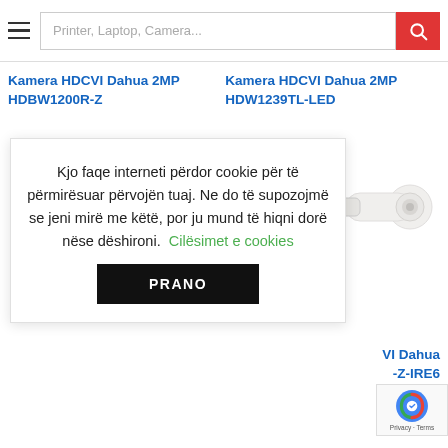Printer, Laptop, Camera... [search bar with hamburger menu]
Kamera HDCVI Dahua 2MP HDBW1200R-Z
Kamera HDCVI Dahua 2MP HDW1239TL-LED
Kjo faqe interneti përdor cookie për të përmirësuar përvojën tuaj. Ne do të supozojmë se jeni mirë me këtë, por ju mund të hiqni dorë nëse dëshironi. Cilësimet e cookies
PRANO
VI Dahua -Z-IRE6